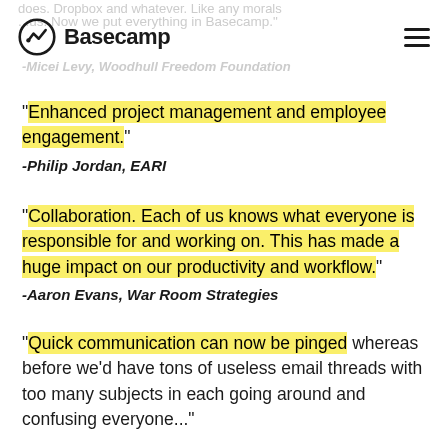Basecamp
“Enhanced project management and employee engagement.”
-Philip Jordan, EARI
“Collaboration. Each of us knows what everyone is responsible for and working on. This has made a huge impact on our productivity and workflow.”
-Aaron Evans, War Room Strategies
“Quick communication can now be pinged whereas before we’d have tons of useless email threads with too many subjects in each going around and confusing everyone...”